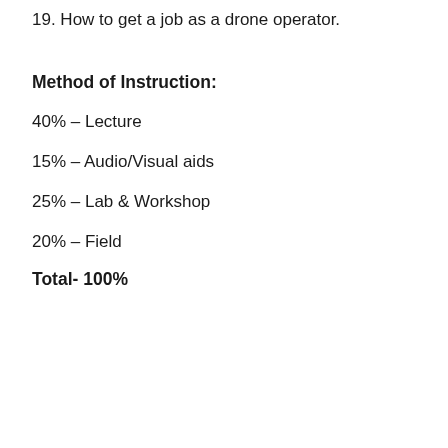19. How to get a job as a drone operator.
Method of Instruction:
40% – Lecture
15% – Audio/Visual aids
25% – Lab & Workshop
20% – Field
Total- 100%